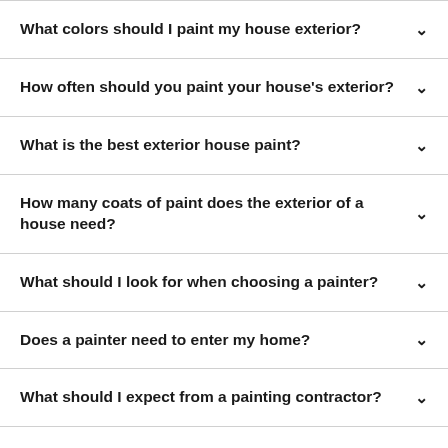What colors should I paint my house exterior?
How often should you paint your house's exterior?
What is the best exterior house paint?
How many coats of paint does the exterior of a house need?
What should I look for when choosing a painter?
Does a painter need to enter my home?
What should I expect from a painting contractor?